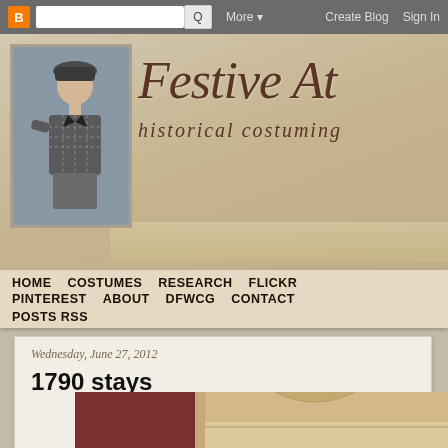b [search] Q  More▼  Create Blog  Sign In
[Figure (illustration): Blog header banner with vintage fashion illustration of a woman in 1920s attire (cloche hat, houndstooth jacket) on a grey card, and decorative script text 'Festive At... historical costuming' on a tan/parchment background]
HOME  COSTUMES  RESEARCH  FLICKR  PINTEREST  ABOUT  DFWCG  CONTACT  POSTS RSS
Wednesday, June 27, 2012
1790 stays
[Figure (photo): Partial photo showing a person wearing what appears to be historical costume stays/corset in cream/tan color, with dark red/burgundy fabric in background]